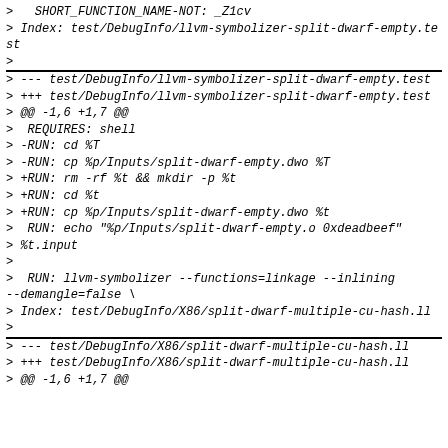>   SHORT_FUNCTION_NAME-NOT: _Z1cv
> Index: test/DebugInfo/llvm-symbolizer-split-dwarf-empty.test
>
> --- test/DebugInfo/llvm-symbolizer-split-dwarf-empty.test
> +++ test/DebugInfo/llvm-symbolizer-split-dwarf-empty.test
> @@ -1,6 +1,7 @@
>  REQUIRES: shell
> -RUN: cd %T
> -RUN: cp %p/Inputs/split-dwarf-empty.dwo %T
> +RUN: rm -rf %t && mkdir -p %t
> +RUN: cd %t
> +RUN: cp %p/Inputs/split-dwarf-empty.dwo %t
>  RUN: echo "%p/Inputs/split-dwarf-empty.o 0xdeadbeef"
> %t.input
>
>  RUN: llvm-symbolizer --functions=linkage --inlining
--demangle=false \
> Index: test/DebugInfo/X86/split-dwarf-multiple-cu-hash.ll
>
> --- test/DebugInfo/X86/split-dwarf-multiple-cu-hash.ll
> +++ test/DebugInfo/X86/split-dwarf-multiple-cu-hash.ll
> @@ -1,6 +1,7 @@